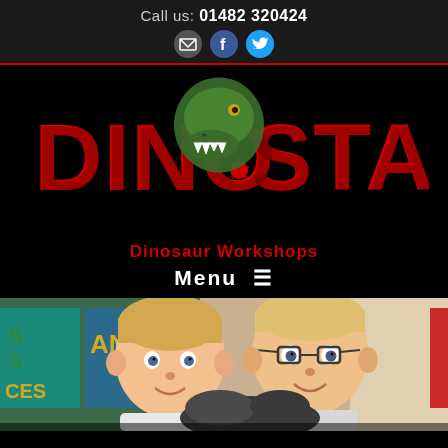Call us: 01482 320424
[Figure (logo): Dino Star logo with red 3D text and green T-Rex dinosaur head in center]
Dinosaur Workshops
Menu ≡
[Figure (photo): Two young boys smiling at camera holding a model/toy dinosaur, classroom setting with green and teal displays in background]